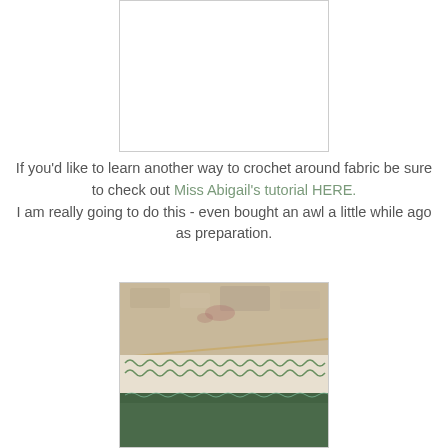[Figure (photo): A white/blank rectangular image placeholder with a light gray border at the top center of the page]
If you'd like to learn another way to crochet around fabric be sure to check out Miss Abigail's tutorial HERE.
I am really going to do this - even bought an awl a little while ago as preparation.
[Figure (photo): Close-up photograph of fabric with green crochet stitching along the edge, showing detailed needlework on a beige/tan fabric with green fabric below]